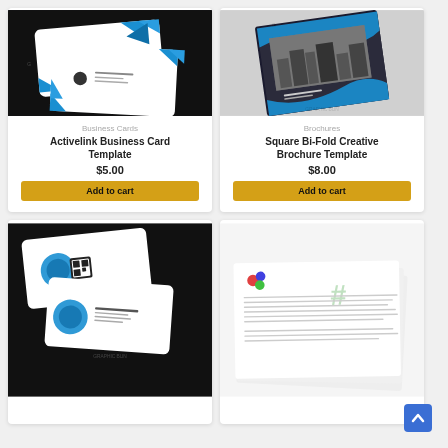[Figure (photo): Business cards with blue triangle geometric design on dark background - Activelink Business Card Template product image]
Business Cards
Activelink Business Card Template
$5.00
Add to cart
[Figure (photo): Square bi-fold brochure with blue wave design and city photo on grey background]
Brochures
Square Bi-Fold Creative Brochure Template
$8.00
Add to cart
[Figure (photo): Business cards with blue circle and QR code design on dark background]
[Figure (photo): White letterhead with colorful logo on white background]